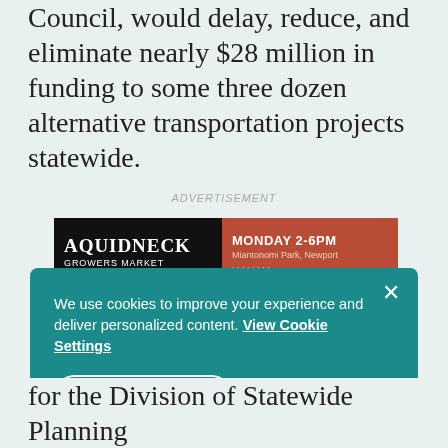Council, would delay, reduce, and eliminate nearly $28 million in funding to some three dozen alternative transportation projects statewide.
ADVERTISEMENT
[Figure (other): Aquidneck Growers Market advertisement banner. Left side: black background with 'AQUIDNECK GROWERS MARKET' text in white. Right side: rust/red background with 'MONDAY 2-6PM, Miantonomi Park, Newport' text.]
We use cookies to improve your experience and deliver personalized content. View Cookie Settings

GOT IT!
for the Division of Statewide Planning